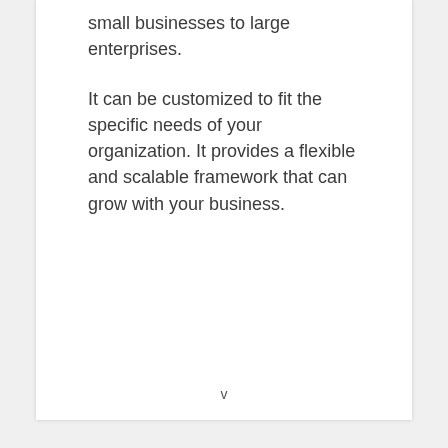small businesses to large enterprises.
It can be customized to fit the specific needs of your organization. It provides a flexible and scalable framework that can grow with your business.